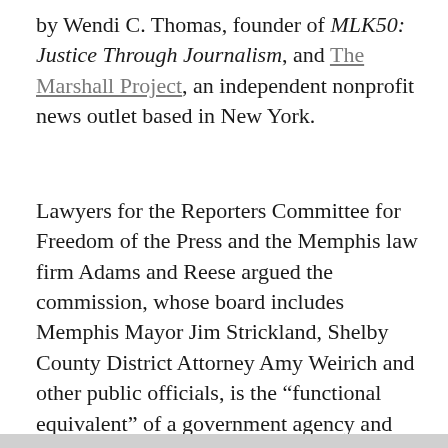by Wendi C. Thomas, founder of MLK50: Justice Through Journalism, and The Marshall Project, an independent nonprofit news outlet based in New York.
Lawyers for the Reporters Committee for Freedom of the Press and the Memphis law firm Adams and Reese argued the commission, whose board includes Memphis Mayor Jim Strickland, Shelby County District Attorney Amy Weirich and other public officials, is the “functional equivalent” of a government agency and thus subject to public disclosure laws.